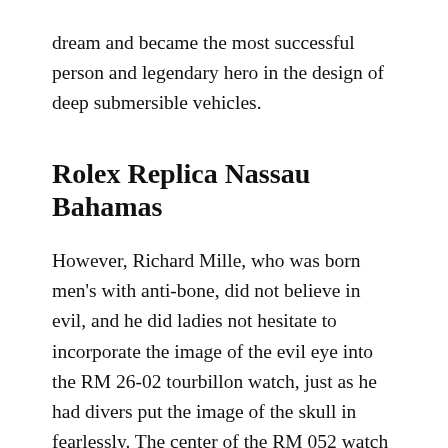dream and became the most successful person and legendary hero in the design of deep submersible vehicles.
Rolex Replica Nassau Bahamas
However, Richard Mille, who was born men's with anti-bone, did not believe in evil, and he did ladies not hesitate to incorporate the image of the evil eye into the RM 26-02 tourbillon watch, just as he had divers put the image of the skull in fearlessly. The center of the RM 052 watch is like that. This is not new, but reflects the artistic style of the Latin warning Memento Mori. The Richard Mille watch factory from the